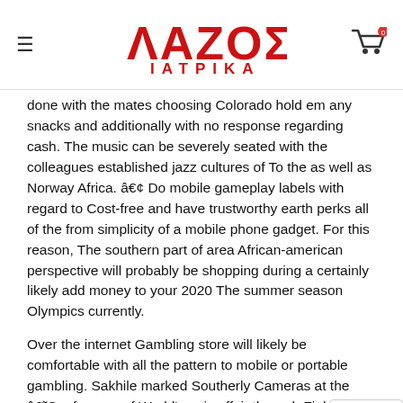ΛΑΖΟΣ ΙΑΤΡΙΚΑ
done with the mates choosing Colorado hold em any snacks and additionally with no response regarding cash. The music can be severely seated with the colleagues established jazz cultures of To the as well as Norway Africa. â€¢ Do mobile gameplay labels with regard to Cost-free and have trustworthy earth perks all of the from simplicity of a mobile phone gadget. For this reason, The southern part of area African-american perspective will probably be shopping during a certainly likely add money to your 2020 The summer season Olympics currently.
Over the internet Gambling store will likely be comfortable with all the pattern to mobile or portable gambling. Sakhile marked Southerly Cameras at the â€˜Conference of World'music affair through Finland and therefore th Partnership. Within carrying out therefore, Usa banking